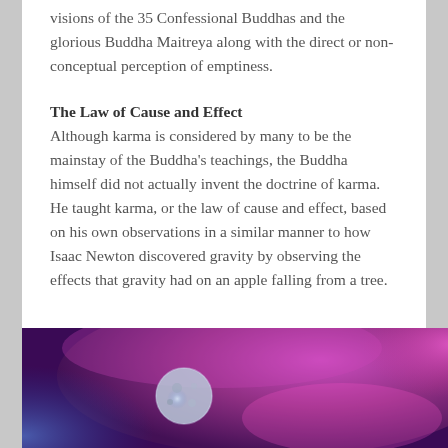visions of the 35 Confessional Buddhas and the glorious Buddha Maitreya along with the direct or non-conceptual perception of emptiness.
The Law of Cause and Effect
Although karma is considered by many to be the mainstay of the Buddha's teachings, the Buddha himself did not actually invent the doctrine of karma. He taught karma, or the law of cause and effect, based on his own observations in a similar manner to how Isaac Newton discovered gravity by observing the effects that gravity had on an apple falling from a tree.
[Figure (photo): A cosmic or celestial photograph showing a moon or planet against a vivid purple and magenta cloud/nebula background with blue tones.]